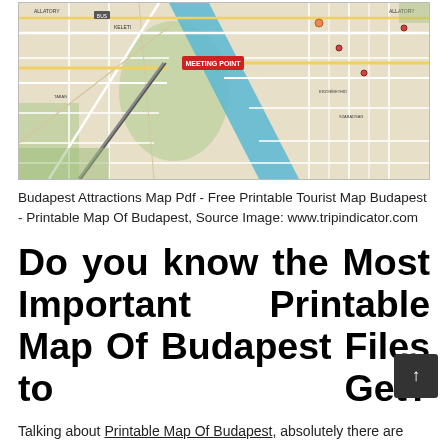[Figure (map): A city tourist map of Budapest showing streets, the Danube river running diagonally through the center, green park areas, labeled streets and landmarks, with a red 'MEETING POINT' marker visible.]
Budapest Attractions Map Pdf - Free Printable Tourist Map Budapest - Printable Map Of Budapest, Source Image: www.tripindicator.com
Do you know the Most Important Printable Map Of Budapest Files to Get?
Talking about Printable Map Of Budapest, absolutely there are